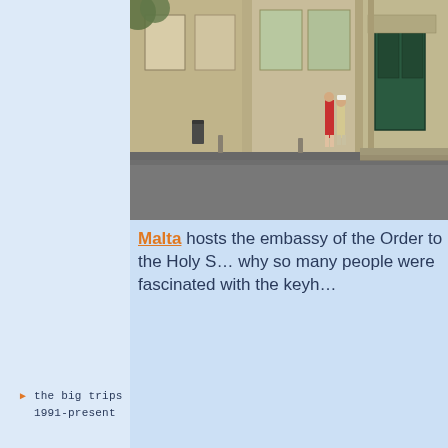[Figure (photo): Photograph of a classical stone building facade with large windows and green doors, a wide open plaza/square in the foreground, and two people standing near the building entrance. A trash bin is visible near the building.]
the big trips
1991-present
Malta hosts the embassy of the Order to the Holy S… why so many people were fascinated with the keyh…